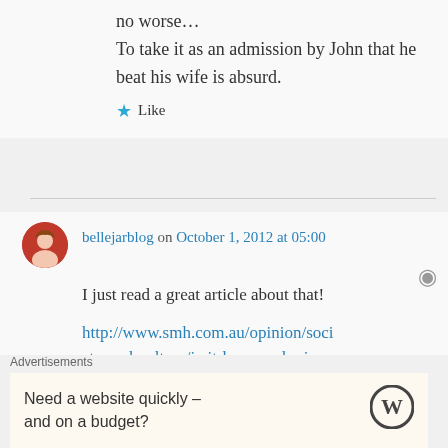no worse…
To take it as an admission by John that he beat his wife is absurd.
Like
bellejarblog on October 1, 2012 at 05:00
I just read a great article about that!
http://www.smh.com.au/opinion/society-and-culture/is-it-because-he-is-
Advertisements
Need a website quickly – and on a budget?